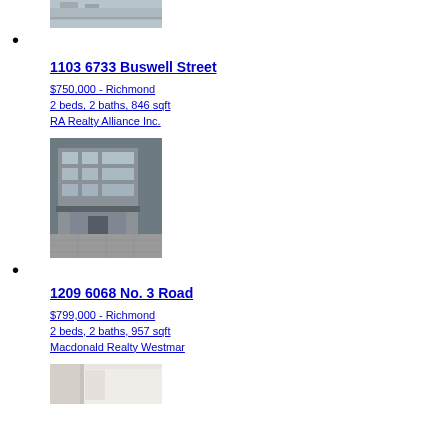[Figure (photo): Partial street/plaza photo at top of page]
1103 6733 Buswell Street
1103 6733 Buswell Street
$750,000 - Richmond
2 beds, 2 baths, 846 sqft
RA Realty Alliance Inc.
[Figure (photo): Exterior photo of a multi-story building with glass facade, brick pavers at ground level]
1209 6068 No. 3 Road
1209 6068 No. 3 Road
$799,000 - Richmond
2 beds, 2 baths, 957 sqft
Macdonald Realty Westmar
[Figure (photo): Partial interior bathroom photo at bottom of page]